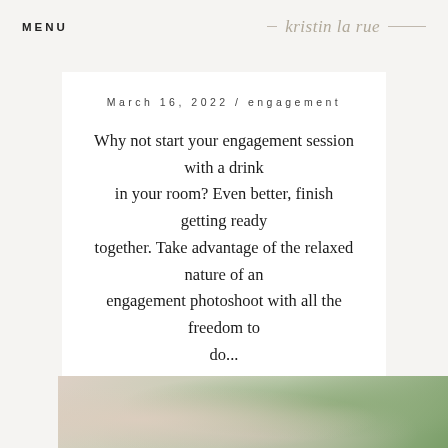MENU  kristin la rue
March 16, 2022 / engagement
Why not start your engagement session with a drink in your room? Even better, finish getting ready together. Take advantage of the relaxed nature of an engagement photoshoot with all the freedom to do...
READ MORE
[Figure (photo): Blurred outdoor photo with soft bokeh, showing trees with pink and green foliage against a light sky]